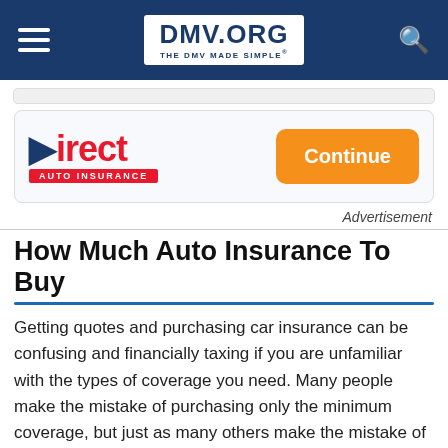DMV.ORG — THE DMV MADE SIMPLE
[Figure (logo): Direct Auto Insurance logo with red text and blue arrow D, red bar reading AUTO INSURANCE, and orange Continue button]
Advertisement
How Much Auto Insurance To Buy
Getting quotes and purchasing car insurance can be confusing and financially taxing if you are unfamiliar with the types of coverage you need. Many people make the mistake of purchasing only the minimum coverage, but just as many others make the mistake of purchasing too much, e.g., buying comprehensive coverage when they don't need it. Knowing how much auto insurance you